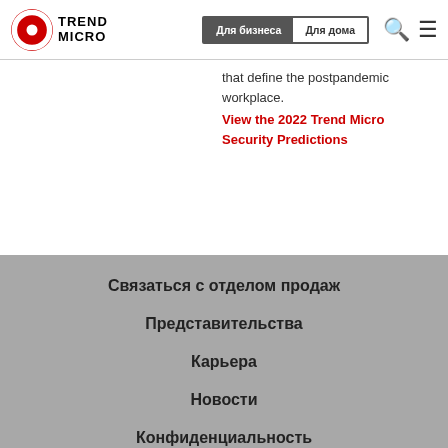Trend Micro | Для бизнеса | Для дома
that define the postpandemic workplace.
View the 2022 Trend Micro Security Predictions
Связаться с отделом продаж
Представительства
Карьера
Новости
Конфиденциальность
Доступность
Поддержка